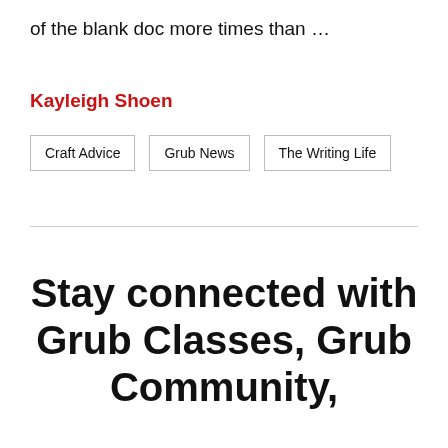of the blank doc more times than …
Kayleigh Shoen
Craft Advice
Grub News
The Writing Life
Stay connected with Grub Classes, Grub Community,